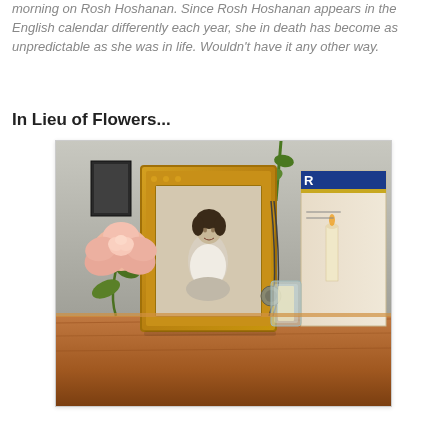morning on Rosh Hoshanan. Since Rosh Hoshanan appears in the English calendar differently each year, she in death has become as unpredictable as she was in life. Wouldn't have it any other way.
In Lieu of Flowers...
[Figure (photo): A wooden surface with a framed black-and-white portrait photo, a pink rose, a beaded necklace with pendant, a glass candle holder, and a yahrzeit candle box partially visible on the right.]